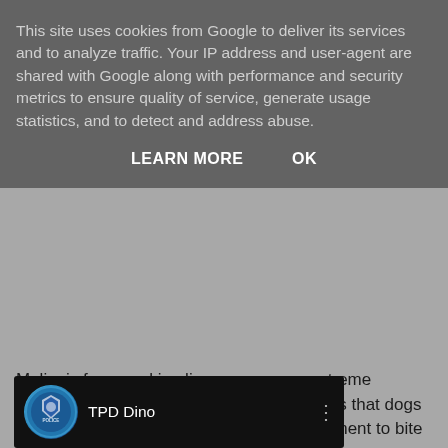This site uses cookies from Google to deliver its services and to analyze traffic. Your IP address and user-agent are shared with Google along with performance and security metrics to ensure quality of service, generate usage statistics, and to detect and address abuse.
LEARN MORE   OK
Malinois from working lines possesses extreme tenacity and biting drive. Experience tells us that dogs with these traits need very little encouragement to bite and can be over stimulated easily.
For that reason with TPD Dino we are concentrating on obtaining and consolidating an instant leave on command and return to the handler before we start training more stimulating chase and attacks.
[Figure (screenshot): YouTube channel card showing TPD Dino channel with a police badge logo on a blue circular icon, channel name 'TPD Dino', and a three-dot menu icon, on a dark background.]